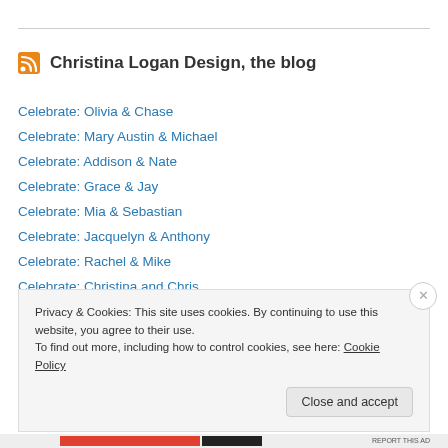Christina Logan Design, the blog
Celebrate: Olivia & Chase
Celebrate: Mary Austin & Michael
Celebrate: Addison & Nate
Celebrate: Grace & Jay
Celebrate: Mia & Sebastian
Celebrate: Jacquelyn & Anthony
Celebrate: Rachel & Mike
Celebrate: Christina and Chris
Celebrate: Ali & Sam
Privacy & Cookies: This site uses cookies. By continuing to use this website, you agree to their use. To find out more, including how to control cookies, see here: Cookie Policy
Close and accept